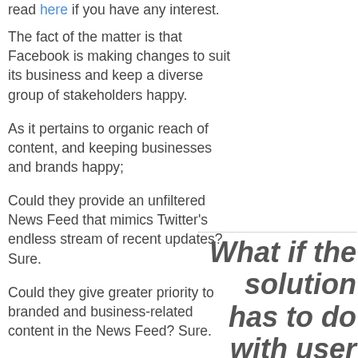read here if you have any interest.
The fact of the matter is that Facebook is making changes to suit its business and keep a diverse group of stakeholders happy.
As it pertains to organic reach of content, and keeping businesses and brands happy;
Could they provide an unfiltered News Feed that mimics Twitter’s endless stream of recent updates? Sure.
Could they give greater priority to branded and business-related content in the News Feed? Sure.
What if the solution has to do with user behaviour, not complicated